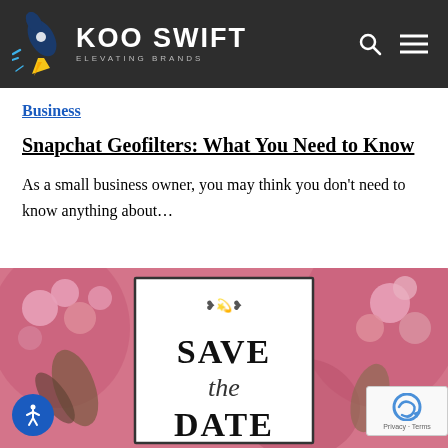KOO SWIFT — ELEVATING BRANDS
Business
Snapchat Geofilters: What You Need to Know
As a small business owner, you may think you don't need to know anything about…
[Figure (photo): Watercolor floral Save the Date card with pink flowers and greenery, partially visible showing 'SAVE the DATE' text]